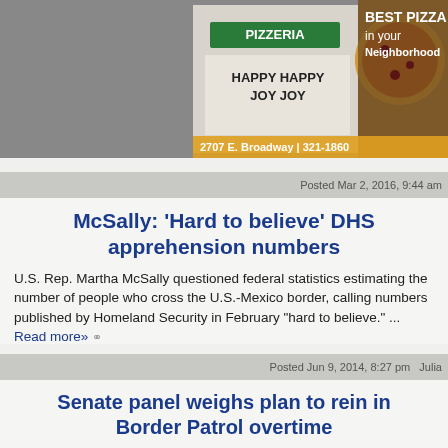[Figure (photo): Advertisement for a pizzeria showing a sign reading 'HAPPY HAPPY JOY JOY' with text '2707 E. Broadway | 321-1860' and pizza imagery, with 'BEST PIZZA IN YOUR NEIGHBORHOOD' overlay]
Posted Mar 2, 2016, 9:44 am
McSally: 'Hard to believe' DHS apprehension numbers
U.S. Rep. Martha McSally questioned federal statistics estimating the number of people who cross the U.S.-Mexico border, calling numbers published by Homeland Security in February "hard to believe." ... Read more»
Posted Jun 9, 2014, 8:27 pm  Julia
Senate panel weighs plan to rein in Border Patrol overtime